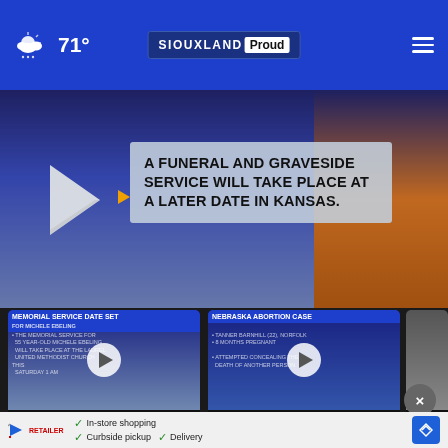71° — Siouxland Proud
[Figure (screenshot): Video player showing text: A FUNERAL AND GRAVESIDE SERVICE WILL TAKE PLACE AT A LATER DATE IN KANSAS.]
[Figure (screenshot): Video thumbnail: Michele Ebeling Funeral Service, 3 hours ago]
[Figure (screenshot): Video thumbnail: Nebraska abortion case, 11 hours ago]
[Figure (screenshot): Video thumbnail (partial): Autism rise]
More Videos →
× In-store shopping  ✓ Curbside pickup  ✓ Delivery